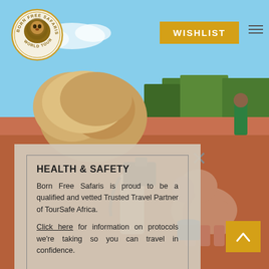[Figure (photo): Safari scene: a person photographing a baby elephant on red dirt ground with trees and a person in green in background. Blue sky overhead.]
[Figure (logo): Born Free Safaris World Tours circular logo with lion silhouette in gold/brown tones]
WISHLIST
HEALTH & SAFETY
Born Free Safaris is proud to be a qualified and vetted Trusted Travel Partner of TourSafe Africa.
Click here for information on protocols we're taking so you can travel in confidence.